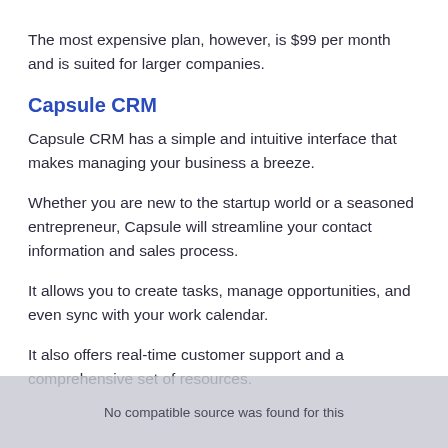The most expensive plan, however, is $99 per month and is suited for larger companies.
Capsule CRM
Capsule CRM has a simple and intuitive interface that makes managing your business a breeze.
Whether you are new to the startup world or a seasoned entrepreneur, Capsule will streamline your contact information and sales process.
It allows you to create tasks, manage opportunities, and even sync with your work calendar.
It also offers real-time customer support and a comprehensive set of resources.